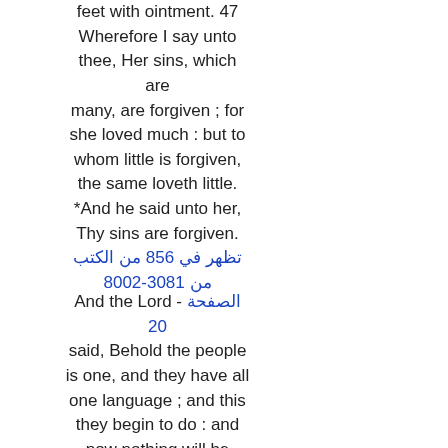feet with ointment. 47 Wherefore I say unto thee, Her sins, which are many, are forgiven ; for she loved much : but to whom little is forgiven, the same loveth little. *And he said unto her, Thy sins are forgiven.
تظهر في 658 من الكتب من 1803-2008
And the Lord - الصفحة 20 said, Behold the people is one, and they have all one language ; and this they begin to do : and now nothing will be restrained from them, which they have imagined to do. Go to, let us go down, and there confound their language,